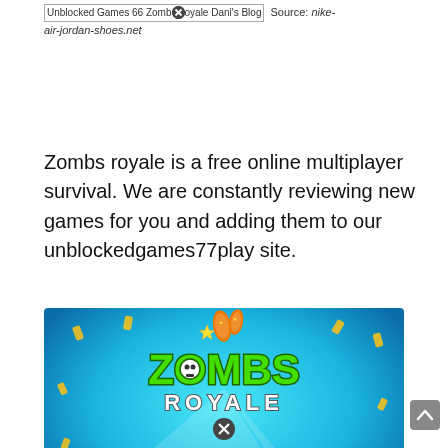Unblocked Games 66 Zombs Royale Dani's Blog  Source: nike-air-jordan-shoes.net
Zombs royale is a free online multiplayer survival. We are constantly reviewing new games for you and adding them to our unblockedgames77play site.
[Figure (illustration): Zombs Royale game promotional image showing two cartoon characters holding weapons, game logo with skull, with App Store and Google Play badges at bottom, on a blue background with bullet casings scattered around.]
Source: laka1.bodegasolvena.com